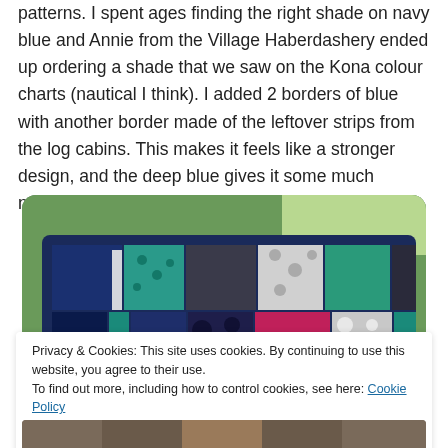patterns. I spent ages finding the right shade on navy blue and Annie from the Village Haberdashery ended up ordering a shade that we saw on the Kona colour charts (nautical I think). I added 2 borders of blue with another border made of the leftover strips from the log cabins. This makes it feels like a stronger design, and the deep blue gives it some much needed depth.
[Figure (photo): A colourful patchwork quilt with navy blue, teal, pink, white and grey fabric patches draped over a wooden bench outdoors with green grass in background]
Privacy & Cookies: This site uses cookies. By continuing to use this website, you agree to their use.
To find out more, including how to control cookies, see here: Cookie Policy
Close and accept
[Figure (photo): Partial view of another photo at the bottom of the page]